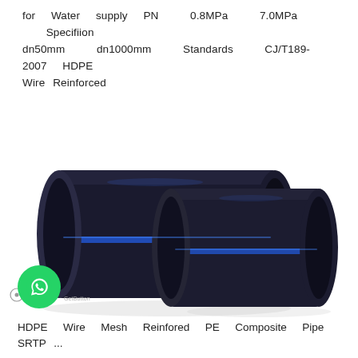for Water supply PN 0.8MPa 7.0MPa Specifiion dn50mm dn1000mm Standards CJ/T189-2007 HDPE Wire Reinforced
[Figure (photo): Two large black HDPE pipes with blue stripe, shown at a slight angle side by side on a white background.]
HDPE Wire Mesh Reinforced PE Composite Pipe SRTP ...